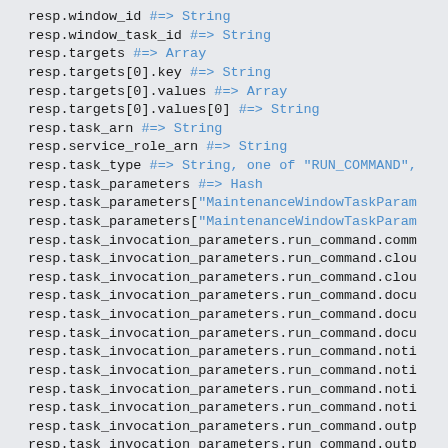resp.window_id #=> String
resp.window_task_id #=> String
resp.targets #=> Array
resp.targets[0].key #=> String
resp.targets[0].values #=> Array
resp.targets[0].values[0] #=> String
resp.task_arn #=> String
resp.service_role_arn #=> String
resp.task_type #=> String, one of "RUN_COMMAND",
resp.task_parameters #=> Hash
resp.task_parameters["MaintenanceWindowTaskParam
resp.task_parameters["MaintenanceWindowTaskParam
resp.task_invocation_parameters.run_command.comm
resp.task_invocation_parameters.run_command.clou
resp.task_invocation_parameters.run_command.clou
resp.task_invocation_parameters.run_command.docu
resp.task_invocation_parameters.run_command.docu
resp.task_invocation_parameters.run_command.docu
resp.task_invocation_parameters.run_command.noti
resp.task_invocation_parameters.run_command.noti
resp.task_invocation_parameters.run_command.noti
resp.task_invocation_parameters.run_command.noti
resp.task_invocation_parameters.run_command.outp
resp.task_invocation_parameters.run_command.outp
resp.task_invocation_parameters.run_command.para